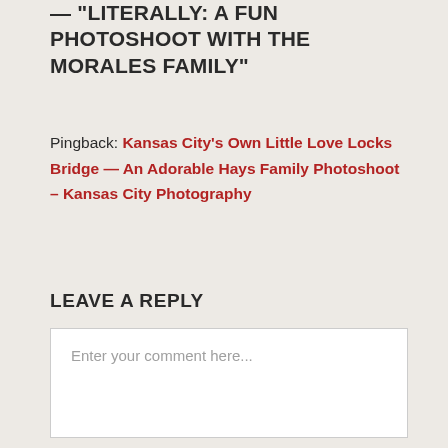— "LITERALLY: A FUN PHOTOSHOOT WITH THE MORALES FAMILY"
Pingback: Kansas City's Own Little Love Locks Bridge — An Adorable Hays Family Photoshoot – Kansas City Photography
LEAVE A REPLY
Enter your comment here...